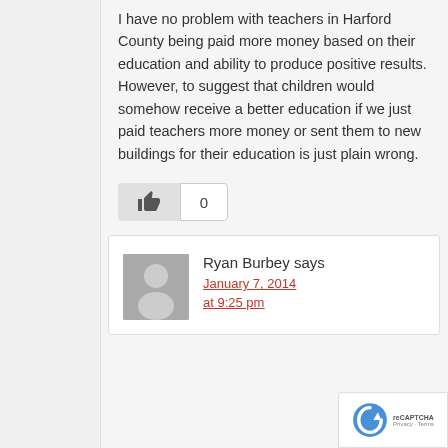I have no problem with teachers in Harford County being paid more money based on their education and ability to produce positive results. However, to suggest that children would somehow receive a better education if we just paid teachers more money or sent them to new buildings for their education is just plain wrong.
[Figure (other): Like button (thumbs up icon) and vote count of 0]
[Figure (other): Reply comment block with avatar placeholder, commenter name 'Ryan Burbey says', and date link 'January 7, 2014 at 9:25 pm']